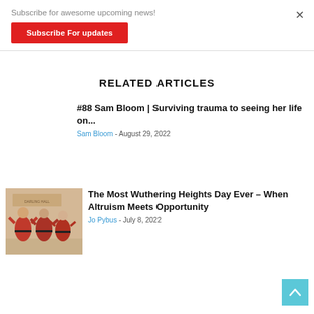Subscribe for awesome upcoming news!
Subscribe For updates
RELATED ARTICLES
#88 Sam Bloom | Surviving trauma to seeing her life on...
Sam Bloom - August 29, 2022
[Figure (photo): Group of women in red dresses clapping, standing in front of a building with signage]
The Most Wuthering Heights Day Ever – When Altruism Meets Opportunity
Jo Pybus - July 8, 2022